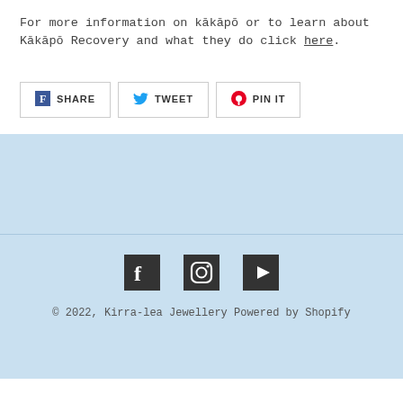For more information on kākāpō or to learn about Kākāpō Recovery and what they do click here.
[Figure (infographic): Three share buttons: Facebook SHARE, Twitter TWEET, Pinterest PIN IT]
[Figure (infographic): Light blue section (empty content area)]
[Figure (infographic): Social media icons: Facebook, Instagram, YouTube]
© 2022, Kirra-lea Jewellery Powered by Shopify